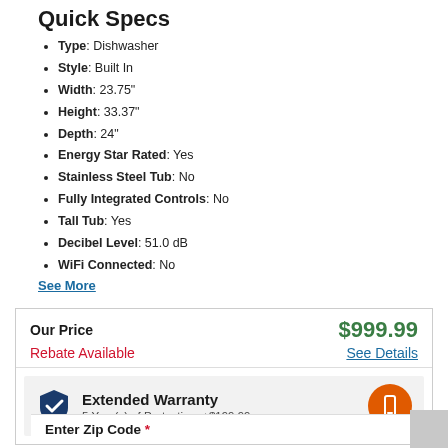Quick Specs
Type: Dishwasher
Style: Built In
Width: 23.75"
Height: 33.37"
Depth: 24"
Energy Star Rated: Yes
Stainless Steel Tub: No
Fully Integrated Controls: No
Tall Tub: Yes
Decibel Level: 51.0 dB
WiFi Connected: No
See More
Our Price $999.99
Rebate Available See Details
Extended Warranty 5 Year(s) of Protection: +$199.99
Enter Zip Code *